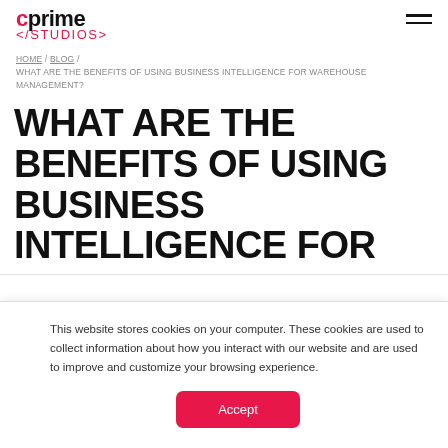cprime STUDIOS
HOME / BLOG / WHAT ARE THE BENEFITS OF USING BUSINESS INTELLIGENCE FOR WAREHOUSE MANAGEMENT?
WHAT ARE THE BENEFITS OF USING BUSINESS INTELLIGENCE FOR
This website stores cookies on your computer. These cookies are used to collect information about how you interact with our website and are used to improve and customize your browsing experience.